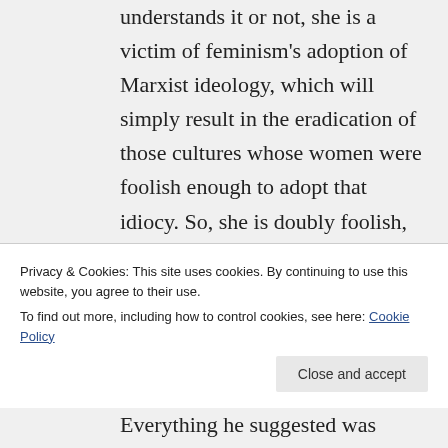understands it or not, she is a victim of feminism's adoption of Marxist ideology, which will simply result in the eradication of those cultures whose women were foolish enough to adopt that idiocy. So, she is doubly foolish, she is threatening her own future happiness and risking the future of your culture too. The scam defined by the overpopulation theory was started
Privacy & Cookies: This site uses cookies. By continuing to use this website, you agree to their use. To find out more, including how to control cookies, see here: Cookie Policy
Everything he suggested was based